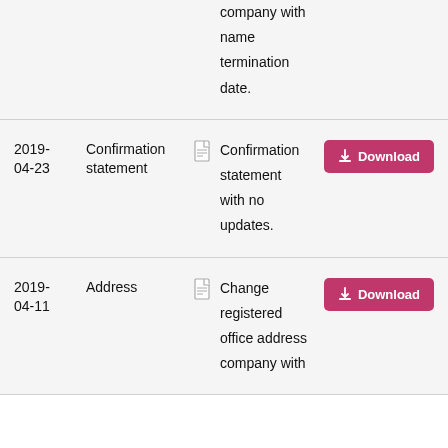company with name termination date.
| Date | Type |  | Description | Action |
| --- | --- | --- | --- | --- |
| 2019-04-23 | Confirmation statement |  | Confirmation statement with no updates. | Download |
| 2019-04-11 | Address |  | Change registered office address company with | Download |